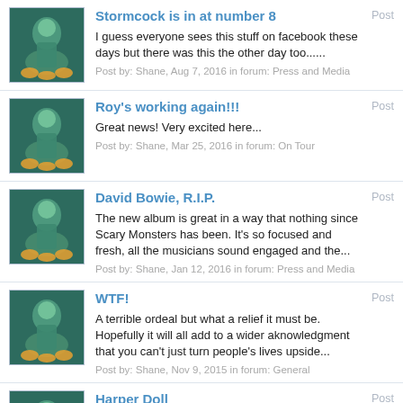Stormcock is in at number 8
I guess everyone sees this stuff on facebook these days but there was this the other day too......
Post by: Shane, Aug 7, 2016 in forum: Press and Media
Roy's working again!!!
Great news! Very excited here...
Post by: Shane, Mar 25, 2016 in forum: On Tour
David Bowie, R.I.P.
The new album is great in a way that nothing since Scary Monsters has been. It's so focused and fresh, all the musicians sound engaged and the...
Post by: Shane, Jan 12, 2016 in forum: Press and Media
WTF!
A terrible ordeal but what a relief it must be. Hopefully it will all add to a wider aknowledgment that you can't just turn people's lives upside...
Post by: Shane, Nov 9, 2015 in forum: General
Harper Doll
This looks like recklessness in the extreme. A cat and a Roy-shaped ball of string?
Post by: Shane, Feb 2, 2015 in forum: General